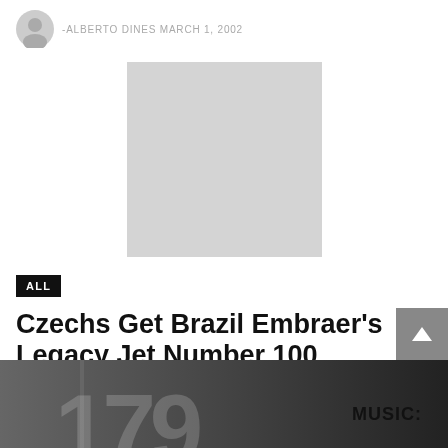-ALBERTO DINES MARCH 1, 2002
[Figure (photo): Light gray placeholder image rectangle, centered]
ALL
Czechs Get Brazil Embraer's Legacy Jet Number 100
Brazilian aircraft company Embraer announced yesterday, March 22, the delivery of the 100th unit ...
NEWSROOM · MARCH 22, 2007
[Figure (photo): Black and white photo strip at bottom with large numbers and 'MUSIC:' text label]